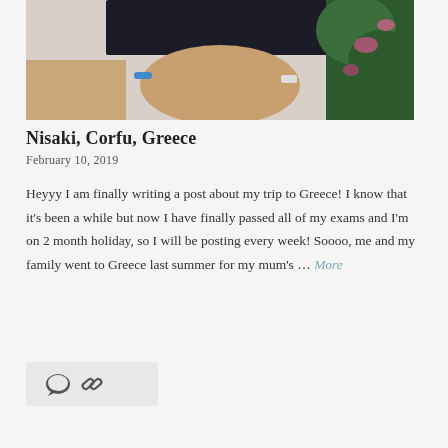[Figure (photo): A person in a black crop top seated outdoors with colorful flowers in the background]
Nisaki, Corfu, Greece
February 10, 2019
Heyyy I am finally writing a post about my trip to Greece! I know that it's been a while but now I have finally passed all of my exams and I'm on 2 month holiday, so I will be posting every week! Soooo, me and my family went to Greece last summer for my mum's … More